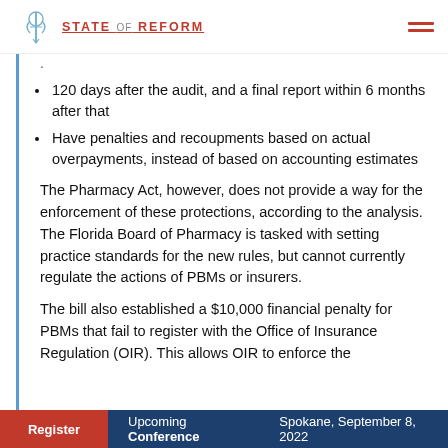STATE OF REFORM
120 days after the audit, and a final report within 6 months after that
Have penalties and recoupments based on actual overpayments, instead of based on accounting estimates
The Pharmacy Act, however, does not provide a way for the enforcement of these protections, according to the analysis. The Florida Board of Pharmacy is tasked with setting practice standards for the new rules, but cannot currently regulate the actions of PBMs or insurers.
The bill also established a $10,000 financial penalty for PBMs that fail to register with the Office of Insurance Regulation (OIR). This allows OIR to enforce the
Register   Upcoming Conference   Spokane, September 8, 2022